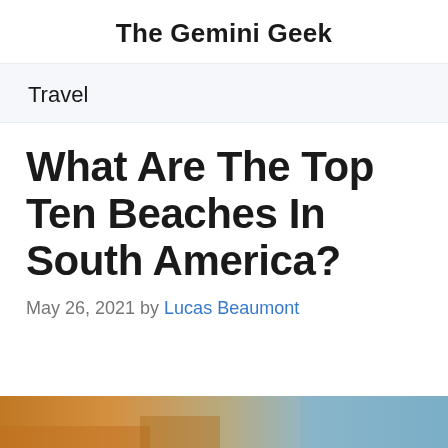The Gemini Geek
Travel
What Are The Top Ten Beaches In South America?
May 26, 2021 by Lucas Beaumont
[Figure (photo): Partial view of a beach scene with sandy/rocky terrain and blue sky, cropped at the bottom of the page]